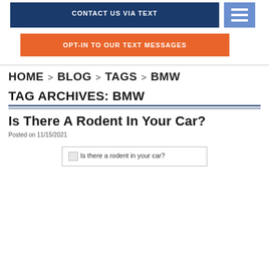CONTACT US VIA TEXT
OPT-IN TO OUR TEXT MESSAGES
HOME > BLOG > TAGS > BMW
TAG ARCHIVES: BMW
Is There A Rodent In Your Car?
Posted on 11/15/2021
[Figure (other): Broken image placeholder with alt text: Is there a rodent in your car?]